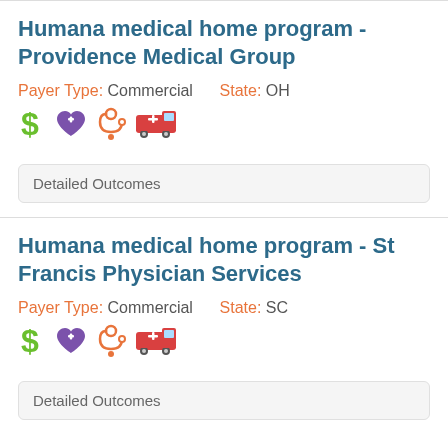Humana medical home program - Providence Medical Group
Payer Type: Commercial    State: OH
[Figure (infographic): Icons: green dollar sign, purple heart with plus, orange stethoscope, red ambulance/medical van]
Detailed Outcomes
Humana medical home program - St Francis Physician Services
Payer Type: Commercial    State: SC
[Figure (infographic): Icons: green dollar sign, purple heart with plus, orange stethoscope, red ambulance/medical van]
Detailed Outcomes